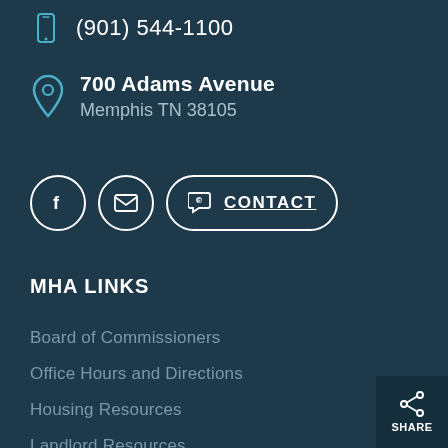(901) 544-1100
700 Adams Avenue
Memphis TN 38105
[Figure (infographic): Social media buttons: Facebook circle icon, Email circle icon, Contact button with chat icon]
MHA LINKS
Board of Commissioners
Office Hours and Directions
Housing Resources
Landlord Resources